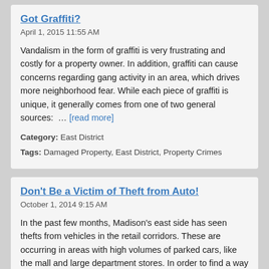Got Graffiti?
April 1, 2015 11:55 AM
Vandalism in the form of graffiti is very frustrating and costly for a property owner. In addition, graffiti can cause concerns regarding gang activity in an area, which drives more neighborhood fear. While each piece of graffiti is unique, it generally comes from one of two general sources: … [read more]
Category: East District
Tags: Damaged Property, East District, Property Crimes
Don't Be a Victim of Theft from Auto!
October 1, 2014 9:15 AM
In the past few months, Madison's east side has seen thefts from vehicles in the retail corridors. These are occurring in areas with high volumes of parked cars, like the mall and large department stores. In order to find a way to prevent these thefts, the police department must